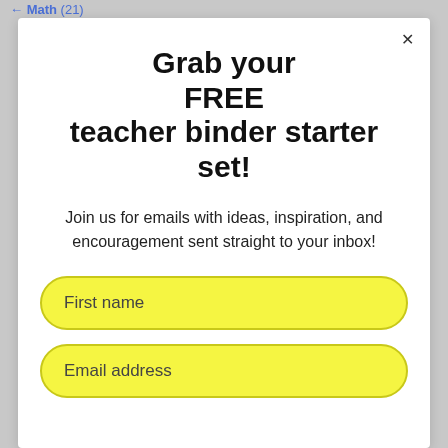Math (21)
Grab your FREE teacher binder starter set!
Join us for emails with ideas, inspiration, and encouragement sent straight to your inbox!
First name
Email address